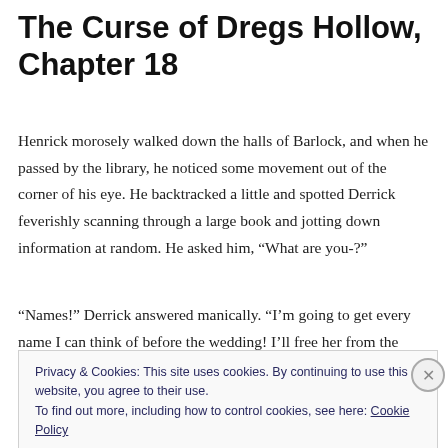The Curse of Dregs Hollow, Chapter 18
Henrick morosely walked down the halls of Barlock, and when he passed by the library, he noticed some movement out of the corner of his eye. He backtracked a little and spotted Derrick feverishly scanning through a large book and jotting down information at random. He asked him, “What are you-?”
“Names!” Derrick answered manically. “I’m going to get every name I can think of before the wedding! I’ll free her from the
Privacy & Cookies: This site uses cookies. By continuing to use this website, you agree to their use.
To find out more, including how to control cookies, see here: Cookie Policy
Close and accept